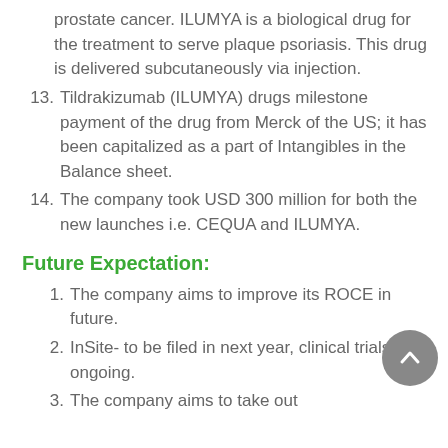prostate cancer. ILUMYA is a biological drug for the treatment to serve plaque psoriasis. This drug is delivered subcutaneously via injection.
13. Tildrakizumab (ILUMYA) drugs milestone payment of the drug from Merck of the US; it has been capitalized as a part of Intangibles in the Balance sheet.
14. The company took USD 300 million for both the new launches i.e. CEQUA and ILUMYA.
Future Expectation:
1. The company aims to improve its ROCE in future.
2. InSite- to be filed in next year, clinical trials is ongoing.
3. The company aims to take out...